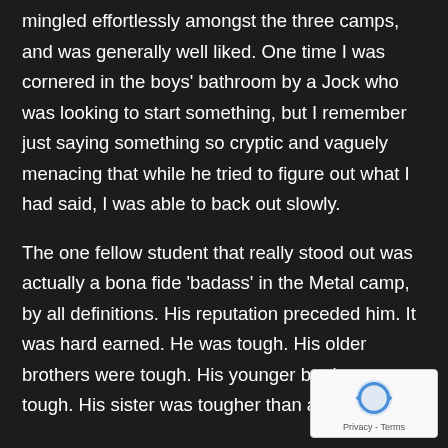mingled effortlessly amongst the three camps, and was generally well liked. One time I was cornered in the boys' bathroom by a Jock who was looking to start something, but I remember just saying something so cryptic and vaguely menacing that while he tried to figure out what I had said, I was able to back out slowly.
The one fellow student that really stood out was actually a bona fide 'badass' in the Metal camp, by all definitions. His reputation preceded him. It was hard earned. He was tough. His older brothers were tough. His younger brothers were tough. His sister was tougher than all of
[Figure (other): reCAPTCHA badge with spinning arrows logo and Privacy - Terms text]